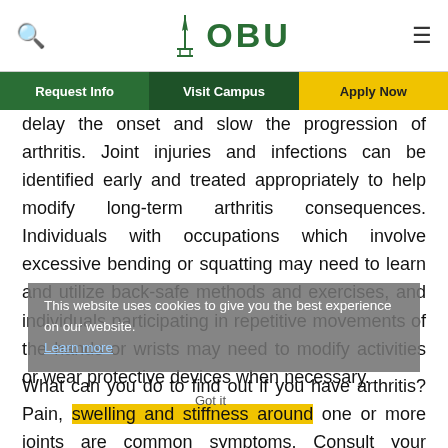OBU
delay the onset and slow the progression of arthritis. Joint injuries and infections can be identified early and treated appropriately to help modify long-term arthritis consequences. Individuals with occupations which involve excessive bending or squatting may need to learn and utilize back-safe methods and exercises, and individuals participating in repetitive movements of the hands or wrists may need to modify activities or wear protective devices when necessary.
This website uses cookies to give you the best experience on our website. Learn more
What can you do to find out if you have arthritis? Pain, swelling and stiffness around one or more joints are common symptoms. Consult your physician or primary